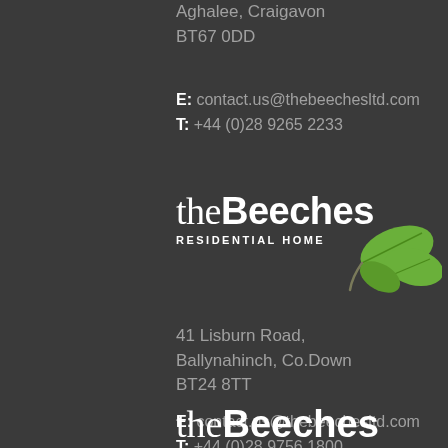Aghalee, Craigavon
BT67 0DD
E: contact.us@thebeechesltd.com
T: +44 (0)28 9265 2233
[Figure (logo): The Beeches Residential Home logo with green leaf illustration]
41 Lisburn Road,
Ballynahinch, Co.Down
BT24 8TT
E: contact.us@thebeechesltd.com
T: +44 (0)28 9756 1800
[Figure (logo): The Beeches logo (bottom, partial)]